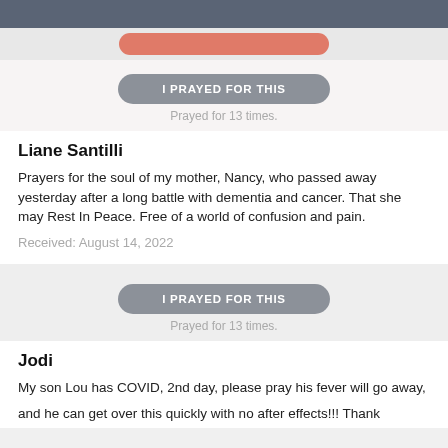[Figure (screenshot): Top dark bar and partial salmon/coral button from previous card (cut off at top of page)]
I PRAYED FOR THIS
Prayed for 13 times.
Liane Santilli
Prayers for the soul of my mother, Nancy, who passed away yesterday after a long battle with dementia and cancer. That she may Rest In Peace. Free of a world of confusion and pain.
Received: August 14, 2022
I PRAYED FOR THIS
Prayed for 13 times.
Jodi
My son Lou has COVID, 2nd day, please pray his fever will go away,
and he can get over this quickly with no after effects!!! Thank